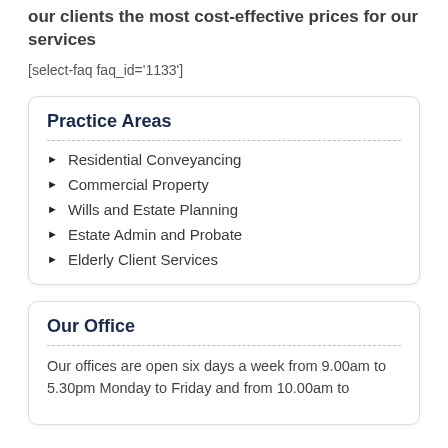our clients the most cost-effective prices for our services
[select-faq faq_id='1133']
Practice Areas
Residential Conveyancing
Commercial Property
Wills and Estate Planning
Estate Admin and Probate
Elderly Client Services
Our Office
Our offices are open six days a week from 9.00am to 5.30pm Monday to Friday and from 10.00am to